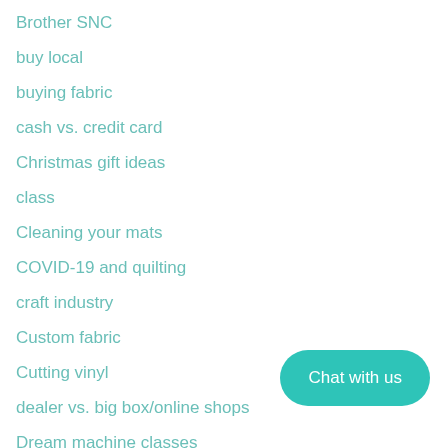Brother SNC
buy local
buying fabric
cash vs. credit card
Christmas gift ideas
class
Cleaning your mats
COVID-19 and quilting
craft industry
Custom fabric
Cutting vinyl
dealer vs. big box/online shops
Dream machine classes
Chat with us